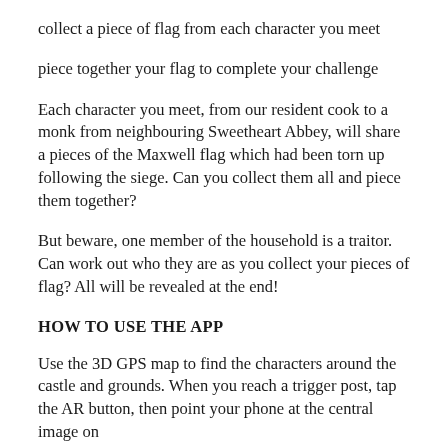collect a piece of flag from each character you meet
piece together your flag to complete your challenge
Each character you meet, from our resident cook to a monk from neighbouring Sweetheart Abbey, will share a pieces of the Maxwell flag which had been torn up following the siege. Can you collect them all and piece them together?
But beware, one member of the household is a traitor. Can work out who they are as you collect your pieces of flag? All will be revealed at the end!
HOW TO USE THE APP
Use the 3D GPS map to find the characters around the castle and grounds. When you reach a trigger post, tap the AR button, then point your phone at the central image on